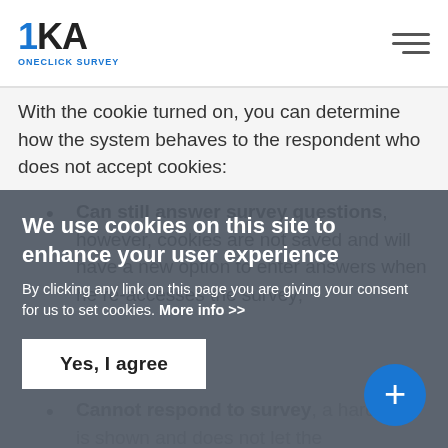1KA ONECLICK SURVEY
With the cookie turned on, you can determine how the system behaves to the respondent who does not accept cookies:
Can still answer survey questions, however, cookies are not saved and will have a new option to enter answers when he re-accesses the survey;
Cannot respond to survey, a hard alert is shown and does not let the respondents to the next page without accepting cookies.
For respondents that already completed the survey, you can provide them with an option to modify their answers afterwards, thus changing the data and the analysis. Therefore, it is generally (but not always) better to mark
We use cookies on this site to enhance your user experience
By clicking any link on this page you are giving your consent for us to set cookies. More info >>
Yes, I agree